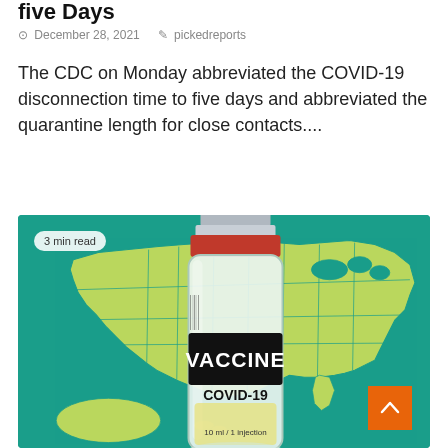five Days
December 28, 2021   pickedreports
The CDC on Monday abbreviated the COVID-19 disconnection time to five days and abbreviated the quarantine length for close contacts....
[Figure (photo): A COVID-19 vaccine vial labeled 'VACCINE COVID-19' with a map of the United States in the background on a teal/green background. A '3 min read' badge is overlaid in the top-left corner.]